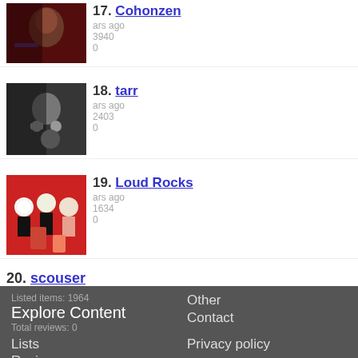[Figure (photo): Thumbnail image for item 17 (Cohonzen) - dark photo of person with red background]
17. Cohonzen
...ars ago
...3940
0
[Figure (photo): Thumbnail for item 18 (tarr) - black and white photo of person holding skull/dark figure]
18. tarr
...ars ago
...2403
0
[Figure (illustration): Thumbnail for item 19 (Loud Rocks) - colorful illustration of three stylized figures on red background]
19. Loud Rocks
...ars ago
...1634
0
20. scouser
Followed 9 years ago
Listed items: 1964
Total reviews: 0
Explore Content
Other
Contact
Lists
Reviews
Privacy policy